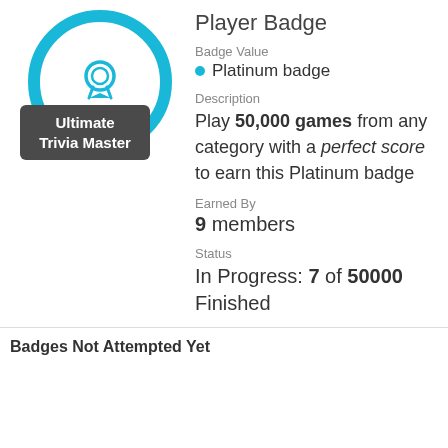[Figure (illustration): Award badge icon — circular cyan/teal ring with a ribbon award icon in the center, with a dark rounded rectangle label below reading 'Ultimate Trivia Master']
Player Badge
Badge Value
• Platinum badge
Description
Play 50,000 games from any category with a perfect score to earn this Platinum badge
Earned By
9 members
Status
In Progress: 7 of 50000 Finished
Badges Not Attempted Yet